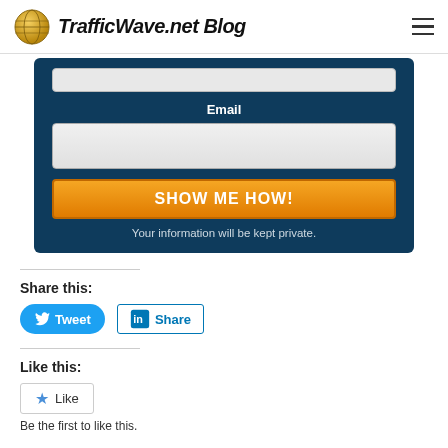TrafficWave.net Blog
[Figure (screenshot): Email signup form with dark blue background, email input field, orange SHOW ME HOW! button, and privacy notice text]
Share this:
[Figure (infographic): Tweet and Share social media buttons]
Like this:
[Figure (infographic): Like button widget]
Be the first to like this.